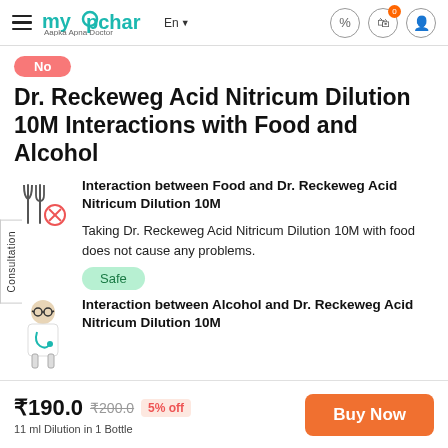myUpchar — Aapka Apna Doctor — En — Cart 0 — Profile
No
Dr. Reckeweg Acid Nitricum Dilution 10M Interactions with Food and Alcohol
Interaction between Food and Dr. Reckeweg Acid Nitricum Dilution 10M
Taking Dr. Reckeweg Acid Nitricum Dilution 10M with food does not cause any problems.
Safe
Interaction between Alcohol and Dr. Reckeweg Acid Nitricum Dilution 10M
₹190.0  ₹200.0  5% off — 11 ml Dilution in 1 Bottle — Buy Now